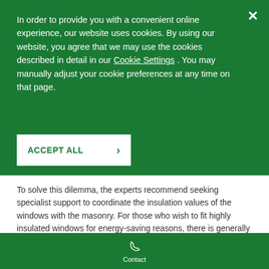In order to provide you with a convenient online experience, our website uses cookies. By using our website, you agree that we may use the cookies described in detail in our Cookie Settings . You may manually adjust your cookie preferences at any time on that page.
ACCEPT ALL ›
To solve this dilemma, the experts recommend seeking specialist support to coordinate the insulation values of the windows with the masonry. For those who wish to fit highly insulated windows for energy-saving reasons, there is generally no alternative to insulation of the external facade in the case of older buildings. If window replacement is planned in individual apartments and no complete external insulation is intended, this
Contact